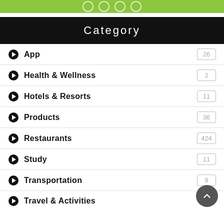[Figure (other): Green bar with circular icons at top]
Category
App — 26
Health & Wellness — 2
Hotels & Resorts — 11
Products — 36
Restaurants — 424
Study — 11
Transportation — 9
Travel & Activities